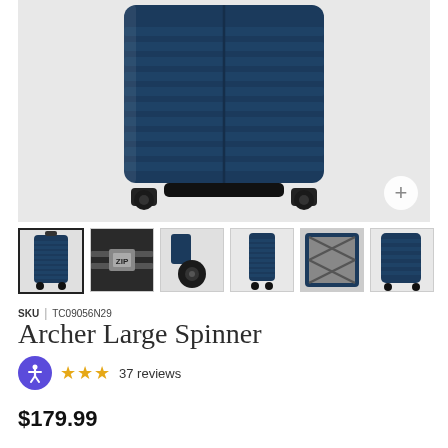[Figure (photo): Navy blue hard-shell suitcase (Archer Large Spinner) shown from front-bottom angle, displaying spinner wheels and ribbed exterior, on a light gray background. A circular '+' button appears in the bottom-right corner.]
[Figure (photo): Row of 6 product thumbnail images of the Archer Large Spinner suitcase from various angles: full front view (selected/highlighted), zipper closeup, wheel closeup, side profile, interior open view, and front angle view.]
SKU | TC09056N29
Archer Large Spinner
★★★ 37 reviews
$179.99